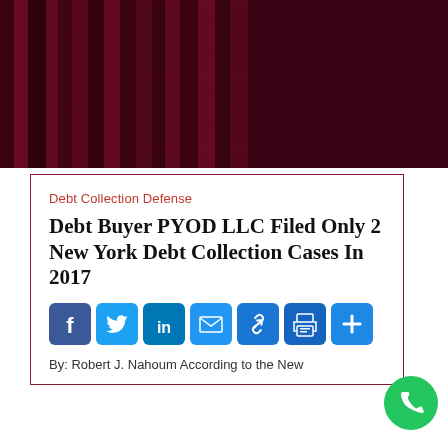[Figure (photo): Dark crimson/maroon colored locker or cabinet background image]
Debt Collection Defense
Debt Buyer PYOD LLC Filed Only 2 New York Debt Collection Cases In 2017
[Figure (infographic): Social sharing buttons row: Facebook, Twitter, LinkedIn, Email, Link, Print, More]
By: Robert J. Nahoum According to the New